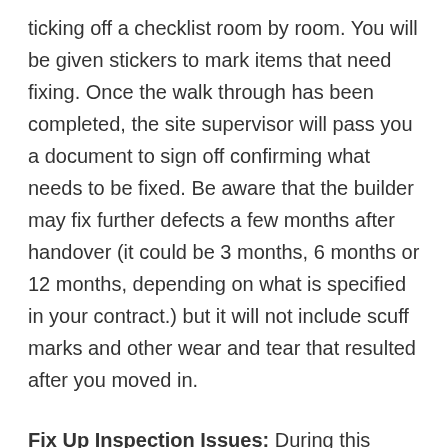ticking off a checklist room by room. You will be given stickers to mark items that need fixing. Once the walk through has been completed, the site supervisor will pass you a document to sign off confirming what needs to be fixed. Be aware that the builder may fix further defects a few months after handover (it could be 3 months, 6 months or 12 months, depending on what is specified in your contract.) but it will not include scuff marks and other wear and tear that resulted after you moved in.
Fix Up Inspection Issues: During this period, the site supervisor will organise